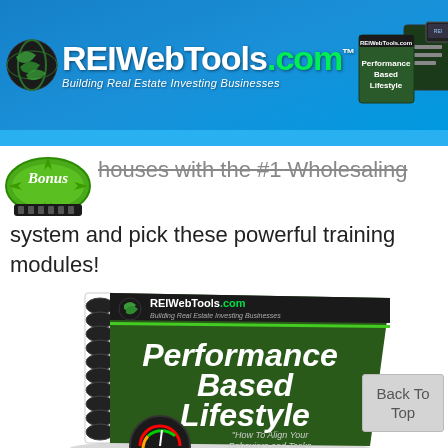REIWebTools.com — Building Real Estate Investing Businesses
houses with the #1 Wholesaling system and pick these powerful training modules!
[Figure (illustration): Spiral-bound book titled 'Performance Based Lifestyle' with REIWebTools.com branding on the cover, showing a speedometer graphic and subtitle 'How To Align Your Behaviors and Tasks Match Your']
Back To Top